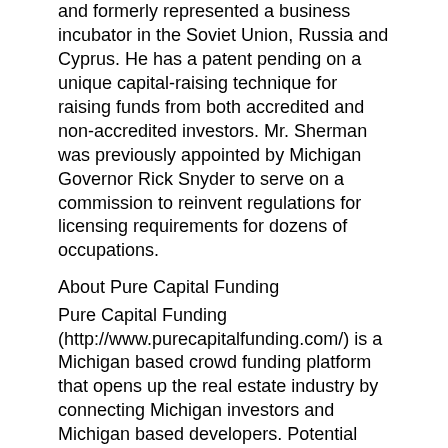and formerly represented a business incubator in the Soviet Union, Russia and Cyprus. He has a patent pending on a unique capital-raising technique for raising funds from both accredited and non-accredited investors. Mr. Sherman was previously appointed by Michigan Governor Rick Snyder to serve on a commission to reinvent regulations for licensing requirements for dozens of occupations.
About Pure Capital Funding
Pure Capital Funding (http://www.purecapitalfunding.com/) is a Michigan based crowd funding platform that opens up the real estate industry by connecting Michigan investors and Michigan based developers. Potential borrowers submit projects for funding on our platform and sit back and watch their projects get funded online by people that believe in them and their projects. Now with Pure Capital Funding we have created a crowd funding platform that allows you and your neighbors, alongside the local billionaires and millionaires, to invest in your community and in top quality real estate developments in Detroit and around Michigan.
Contact
Matthew Vogel